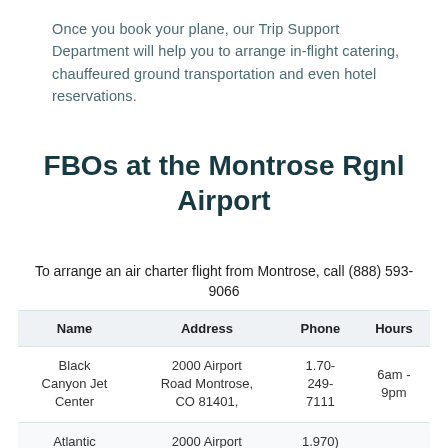Once you book your plane, our Trip Support Department will help you to arrange in-flight catering, chauffeured ground transportation and even hotel reservations.
FBOs at the Montrose Rgnl Airport
To arrange an air charter flight from Montrose, call (888) 593-9066
| Name | Address | Phone | Hours |
| --- | --- | --- | --- |
| Black Canyon Jet Center | 2000 Airport Road Montrose, CO 81401, | 1.70-249-7111 | 6am - 9pm |
| Atlantic | 2000 Airport | 1.970) |  |